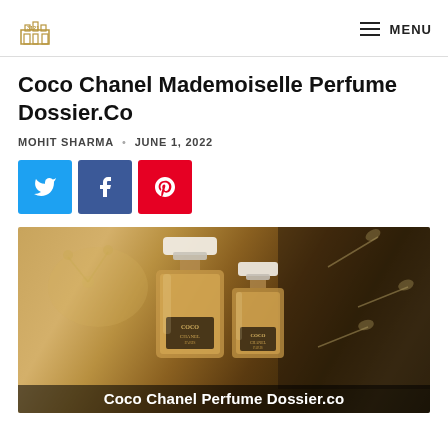3121 [logo] | MENU
Coco Chanel Mademoiselle Perfume Dossier.Co
MOHIT SHARMA · JUNE 1, 2022
[Figure (infographic): Three social share buttons: Twitter (cyan), Facebook (blue), Pinterest (red)]
[Figure (photo): Photo of two Coco Chanel Mademoiselle perfume bottles against a floral golden and dark background. Overlay text reads: Coco Chanel Perfume Dossier.co]